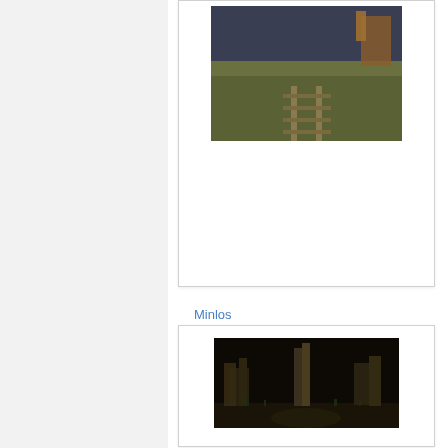[Figure (screenshot): Game screenshot showing a rail or road scene in a field landscape with dark moody sky, top card image]
Minlos
The Northern Line of the Warning Beacons of Gondor
[Figure (screenshot): Game screenshot showing dark ruins or stone structures with path at night, bottom card image]